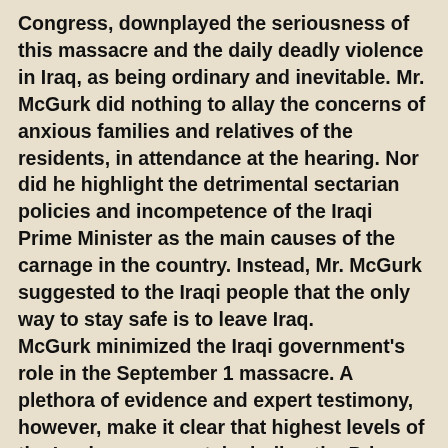Congress, downplayed the seriousness of this massacre and the daily deadly violence in Iraq, as being ordinary and inevitable. Mr. McGurk did nothing to allay the concerns of anxious families and relatives of the residents, in attendance at the hearing. Nor did he highlight the detrimental sectarian policies and incompetence of the Iraqi Prime Minister as the main causes of the carnage in the country. Instead, Mr. McGurk suggested to the Iraqi people that the only way to stay safe is to leave Iraq.
McGurk minimized the Iraqi government's role in the September 1 massacre. A plethora of evidence and expert testimony, however, make it clear that highest levels of the Iraqi government, including the Prime Minister, were involved in the planning, execution and cover-up of this crime against humanity.
Camp Ashraf is sealed off from the outside by chain-lined fence with barbed wire on top, leaving